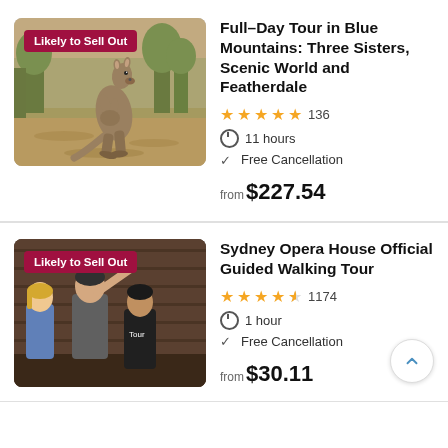[Figure (photo): Kangaroo standing in a dry bush setting with trees in background. Badge overlay: 'Likely to Sell Out']
Full-Day Tour in Blue Mountains: Three Sisters, Scenic World and Featherdale
★★★★★ 136
11 hours
Free Cancellation
from $227.54
[Figure (photo): Three people at Sydney Opera House interior, one pointing up. Badge overlay: 'Likely to Sell Out']
Sydney Opera House Official Guided Walking Tour
★★★★½ 1174
1 hour
Free Cancellation
from $30.11